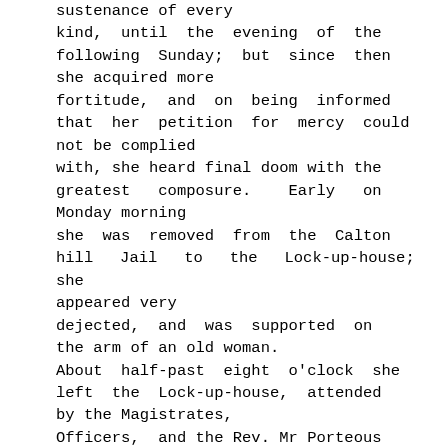sustenance of every kind, until the evening of the following Sunday; but since then she acquired more fortitude, and on being informed that her petition for mercy could not be complied with, she heard final doom with the greatest composure. Early on Monday morning she was removed from the Calton hill Jail to the Lock-up-house; she appeared very dejected, and was supported on the arm of an old woman. About half-past eight o'clock she left the Lock-up-house, attended by the Magistrates, Officers, and the Rev. Mr Porteous